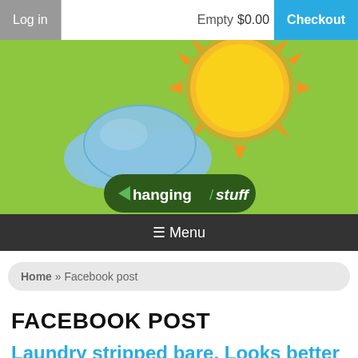Log in | Empty $0.00 | Checkout
[Figure (logo): ChangingStuff website logo with cloud and sun illustration on green background, with dark green pill-shaped badge reading 'changing stuff']
☰ Menu
Home » Facebook post
FACEBOOK POST
Laundry stripped bare. Looks better